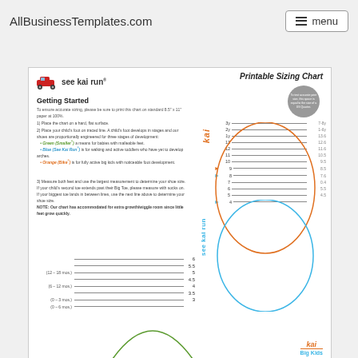AllBusinessTemplates.com   menu
Printable Sizing Chart
[Figure (logo): See Kai Run logo with red toy car icon and brand text]
Getting Started
To ensure accurate sizing, please be sure to print this chart on standard 8.5" x 11" paper at 100%.
1) Place the chart on a hard, flat surface.
2) Place your child's foot on traced line. A child's foot develops in stages and our shoes are proportionally engineered for three stages of development:
• Green (Smaller*) a means for babies with malleable feet.
• Blue (See Kai Run*) is for walking and active toddlers who have yet to develop arches.
• Orange (Bike*) is for fully active big kids with noticeable foot development.
3) Measure both feet and use the largest measurement to determine your shoe size. If your child's second toe extends past their Big Toe, please measure with socks on. If your biggest toe lands in between lines, use the next line above to determine your shoe size. NOTE: Our chart has accommodated for extra growth/wiggle room since little feet grow quickly.
[Figure (other): Printable shoe sizing chart with horizontal measurement lines labeled with shoe sizes (3-3y) and age/month ranges on left, vertical KAI and see kai run labels, orange oval outline for kai range, blue oval outline for see kai run range, green curve at bottom for infant range, calibration circle, and Big Kids logo at bottom right.]
kai Big Kids